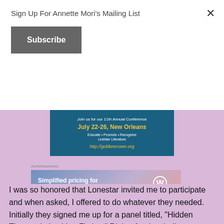Sign Up For Annette Mori’s Mailing List
Subscribe
[Figure (infographic): Golden Crown Literary Society 11th Annual Conference banner: Join us for our 11th Annual Conference July 22-26, New Orleans. Educate • Promote • Recognize Lesbian Literature. http://goldencrown.org]
Advertisements
[Figure (infographic): WordPress.com advertisement: Simplified pricing for everything you need. WordPress.com logo.]
I was so honored that Lonestar invited me to participate and when asked, I offered to do whatever they needed. Initially they signed me up for a panel titled, “Hidden Themes in Lesbian Fiction.” Right after lunch, I’m scheduled to do a reading. Poet, book sitting, at, an, and, the, reading, t